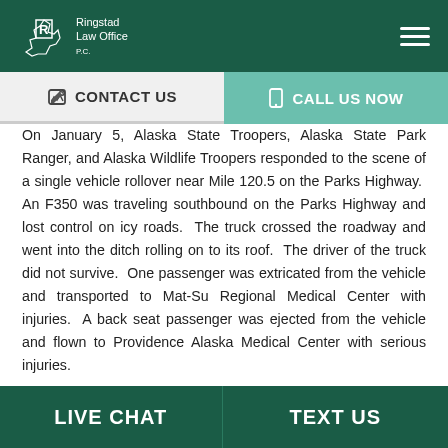Ringstad Law Office PC
CONTACT US
CALL US NOW
On January 5, Alaska State Troopers, Alaska State Park Ranger, and Alaska Wildlife Troopers responded to the scene of a single vehicle rollover near Mile 120.5 on the Parks Highway.  An F350 was traveling southbound on the Parks Highway and lost control on icy roads.  The truck crossed the roadway and went into the ditch rolling on to its roof.  The driver of the truck did not survive.  One passenger was extricated from the vehicle and transported to Mat-Su Regional Medical Center with injuries.  A back seat passenger was ejected from the vehicle and flown to Providence Alaska Medical Center with serious injuries.
LIVE CHAT   TEXT US